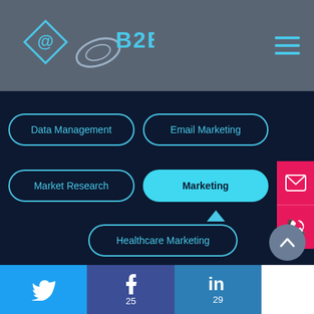[Figure (logo): @B2B logo with diamond shape and satellite arc, on grey header bar]
[Figure (infographic): Navigation pills: Data Management, Email Marketing, Market Research, Marketing (selected/filled), with dropdown showing Healthcare Marketing]
[Figure (infographic): Pink contact sidebar with email and phone icons]
[Figure (infographic): Social media footer: Twitter, Facebook (25), LinkedIn (29)]
[Figure (infographic): Scroll-up circular button]